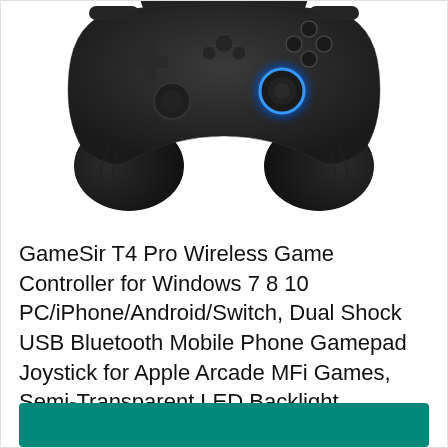[Figure (photo): Top-down view of a black GameSir T4 Pro wireless game controller with blue LED light ring around the right analog stick, shown against a white background]
GameSir T4 Pro Wireless Game Controller for Windows 7 8 10 PC/iPhone/Android/Switch, Dual Shock USB Bluetooth Mobile Phone Gamepad Joystick for Apple Arcade MFi Games, Semi-Transparent LED Backlight
in stock